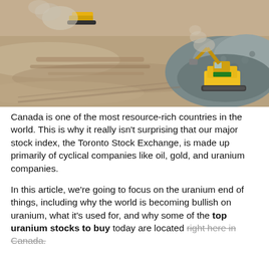[Figure (photo): Aerial view of a mining site with two large excavators/bulldozers working on sandy terrain with a pile of crushed rock/gravel on the right side.]
Canada is one of the most resource-rich countries in the world. This is why it really isn't surprising that our major stock index, the Toronto Stock Exchange, is made up primarily of cyclical companies like oil, gold, and uranium companies.
In this article, we're going to focus on the uranium end of things, including why the world is becoming bullish on uranium, what it's used for, and why some of the top uranium stocks to buy today are located right here in Canada.